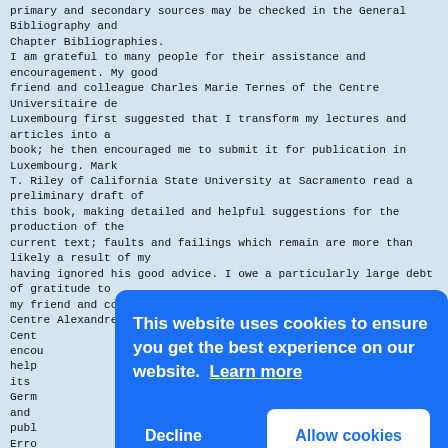primary and secondary sources may be checked in the General Bibliography and Chapter Bibliographies. I am grateful to many people for their assistance and encouragement. My good friend and colleague Charles Marie Ternes of the Centre Universitaire de Luxembourg first suggested that I transform my lectures and articles into a book; he then encouraged me to submit it for publication in Luxembourg. Mark T. Riley of California State University at Sacramento read a preliminary draft of this book, making detailed and helpful suggestions for the production of the current text; faults and failings which remain are more than likely a result of my having ignored his good advice. I owe a particularly large debt of gratitude to my friend and colleague, Prof. Charles Marie Ternes of the Centre AlexandreWiltheim, Luxembourg, and the Cent encou help its Germ and publ Erro resp Clar myth religion over nearly 25 years have been a constant
This website uses cookies to ensure you get the best experience on our website. Learn more
Decline
Allow cookies